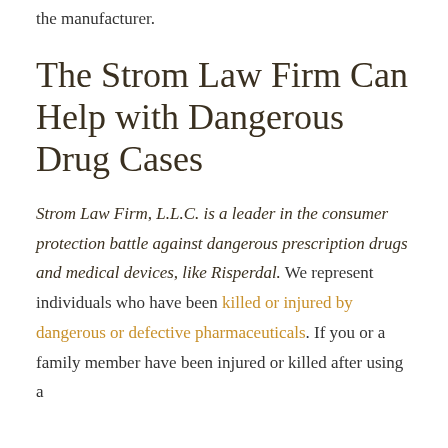the manufacturer.
The Strom Law Firm Can Help with Dangerous Drug Cases
Strom Law Firm, L.L.C. is a leader in the consumer protection battle against dangerous prescription drugs and medical devices, like Risperdal. We represent individuals who have been killed or injured by dangerous or defective pharmaceuticals. If you or a family member have been injured or killed after using a